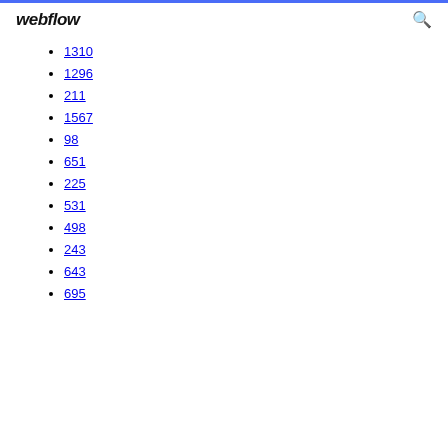webflow
1310
1296
211
1567
98
651
225
531
498
243
643
695